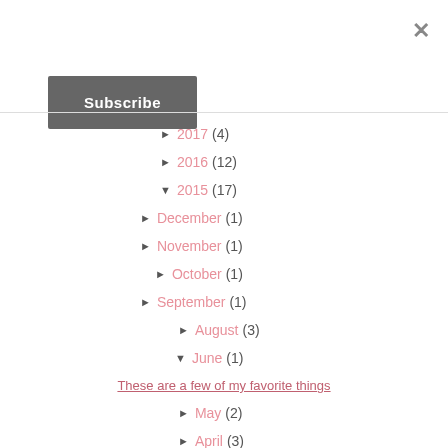×
Subscribe
► 2017 (4)
► 2016 (12)
▼ 2015 (17)
► December (1)
► November (1)
► October (1)
► September (1)
► August (3)
▼ June (1)
These are a few of my favorite things
► May (2)
► April (3)